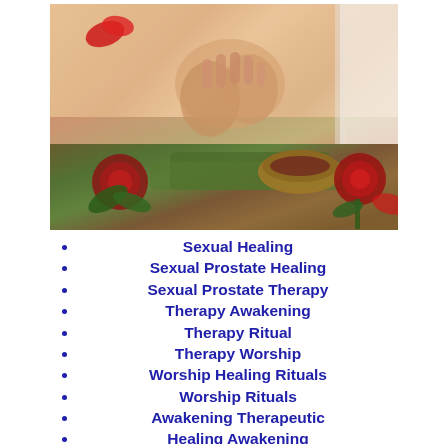[Figure (photo): A massage scene showing hands on a person's back with rose petals, a singing bowl, roses, and green towels arranged in the foreground.]
Sexual Healing
Sexual Prostate Healing
Sexual Prostate Therapy
Therapy Awakening
Therapy Ritual
Therapy Worship
Worship Healing Rituals
Worship Rituals
Awakening Therapeutic
Healing Awakening
Healing Ritual